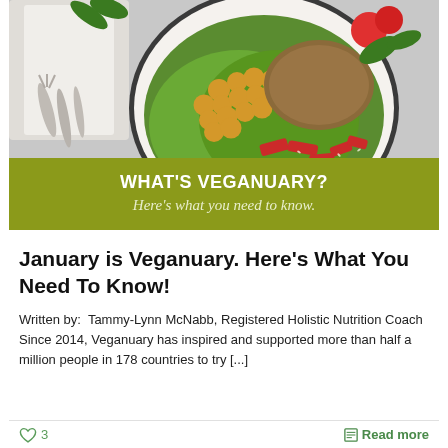[Figure (photo): Overhead shot of a vegan salad bowl with chickpeas, quinoa/buckwheat, chopped red peppers, and green lettuce, with silverware on the left side on a light grey background. An olive-colored banner overlay at the bottom reads 'WHAT'S VEGANUARY? Here's what you need to know.']
January is Veganuary. Here's What You Need To Know!
Written by:  Tammy-Lynn McNabb, Registered Holistic Nutrition Coach Since 2014, Veganuary has inspired and supported more than half a million people in 178 countries to try [...]